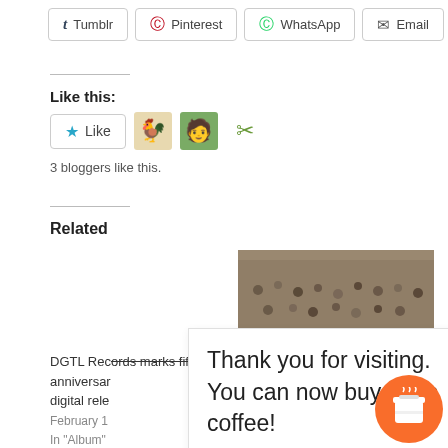[Figure (screenshot): Share buttons row: Tumblr, Pinterest, WhatsApp, Email]
Like this:
[Figure (screenshot): Like button with star icon and 3 blogger avatar thumbnails]
3 bloggers like this.
Related
[Figure (photo): Concert crowd aerial photo - Primavera Sound]
DGTL Records marks fifth anniversary digital rele February 1 In "Album"
Primavera Sound renows ieve a In Festivals
Thank you for visiting. You can now buy me a coffee!
[Figure (illustration): Orange circular coffee cup buy-me-a-coffee button]